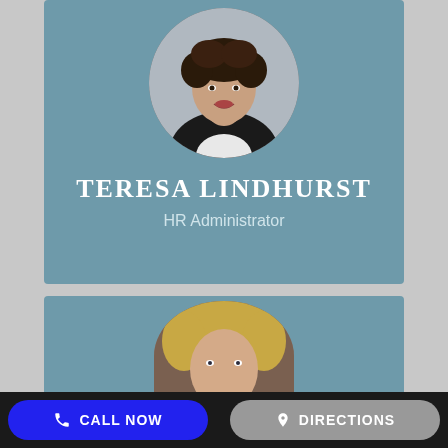[Figure (photo): Circular portrait photo of Teresa Lindhurst, a woman with curly dark hair wearing a black blazer and white shirt, set against a light gray background]
TERESA LINDHURST
HR Administrator
[Figure (photo): Partial circular portrait photo of a second person with blonde hair, partially visible at the bottom of the second card]
CALL NOW
DIRECTIONS